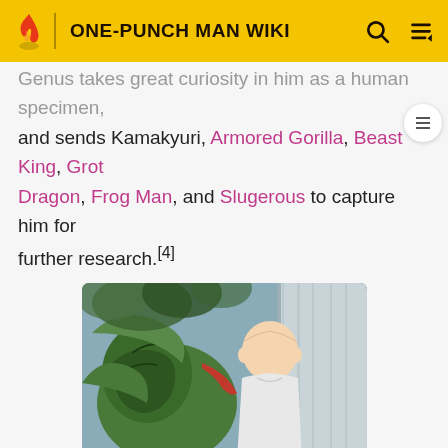ONE-PUNCH MAN WIKI
Genus takes great curiosity in him as a human specimen, and sends Kamakyuri, Armored Gorilla, Beast King, Grotesque Dragon, Frog Man, and Slugerous to capture him for further research.[4]
[Figure (photo): Anime still showing Kamakyuri (green insectoid creature) facing Saitama (bald hero in white outfit) in an apartment setting]
Kamakyuri's death
While Genos and Saitama are lounging in the latter's apartment, Kamakyuri attempts an ambush by crashing down through the ceiling. He begins to introduce himself, but is killed instantly by an irritated Saitama, who